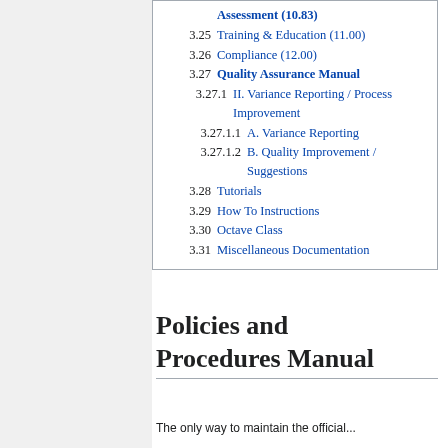Assessment (10.83)
3.25  Training & Education (11.00)
3.26  Compliance (12.00)
3.27  Quality Assurance Manual
3.27.1  II. Variance Reporting / Process Improvement
3.27.1.1  A. Variance Reporting
3.27.1.2  B. Quality Improvement / Suggestions
3.28  Tutorials
3.29  How To Instructions
3.30  Octave Class
3.31  Miscellaneous Documentation
Policies and Procedures Manual
The only way to maintain the official...